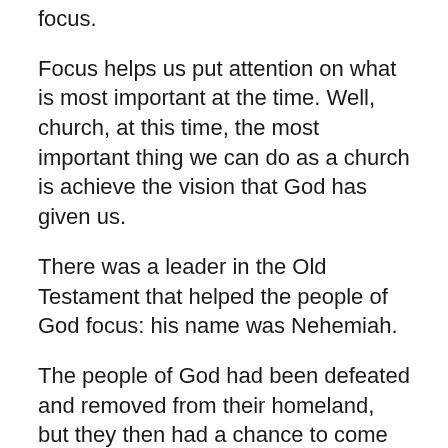focus.
Focus helps us put attention on what is most important at the time. Well, church, at this time, the most important thing we can do as a church is achieve the vision that God has given us.
There was a leader in the Old Testament that helped the people of God focus: his name was Nehemiah.
The people of God had been defeated and removed from their homeland, but they then had a chance to come back and rebuild the city. It was a miracle and tremendous blessing of God that they could do this. However, they had a lot of obstacles in their way. Among those obstacles were some